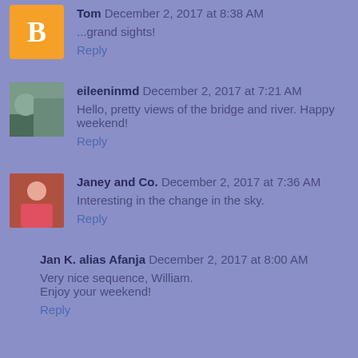...grand sights!
Reply
eileeninmd  December 2, 2017 at 7:21 AM
Hello, pretty views of the bridge and river. Happy weekend!
Reply
Janey and Co.  December 2, 2017 at 7:36 AM
Interesting in the change in the sky.
Reply
Jan K. alias Afanja  December 2, 2017 at 8:00 AM
Very nice sequence, William.
Enjoy your weekend!
Reply